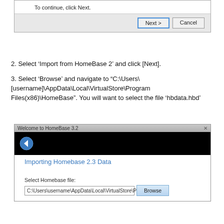[Figure (screenshot): Windows installer dialog showing 'To continue, click Next.' with Next and Cancel buttons]
2. Select ‘Import from HomeBase 2’ and click [Next].
3. Select ‘Browse’ and navigate to “C:\Users\[username]\AppData\Local\VirtualStore\Program Files(x86)\HomeBase”. You will want to select the file ‘hbdata.hbd’
[Figure (screenshot): Welcome to HomeBase 3.2 dialog showing 'Importing Homebase 2.3 Data' screen with a file path input field 'C:\Users\username\AppData\Local\VirtualStore\P' and a Browse button]